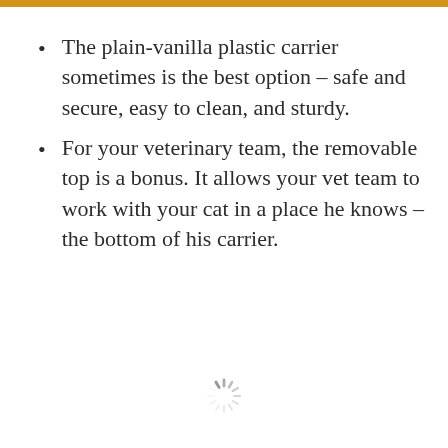The plain-vanilla plastic carrier sometimes is the best option – safe and secure, easy to clean, and sturdy.
For your veterinary team, the removable top is a bonus. It allows your vet team to work with your cat in a place he knows – the bottom of his carrier.
[Figure (other): Loading spinner icon at bottom center of page]